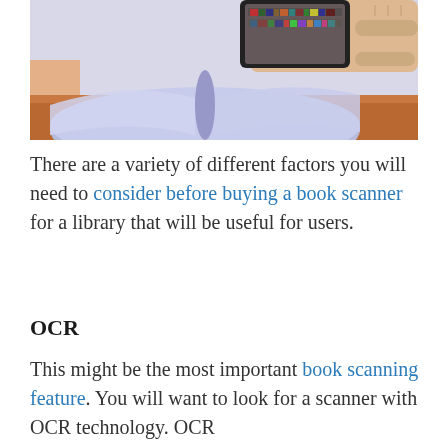[Figure (photo): A hand holding a smartphone over an open book. The phone screen shows a library with bookshelves. The book lies open on a wooden table.]
There are a variety of different factors you will need to consider before buying a book scanner for a library that will be useful for users.
OCR
This might be the most important book scanning feature. You will want to look for a scanner with OCR technology. OCR